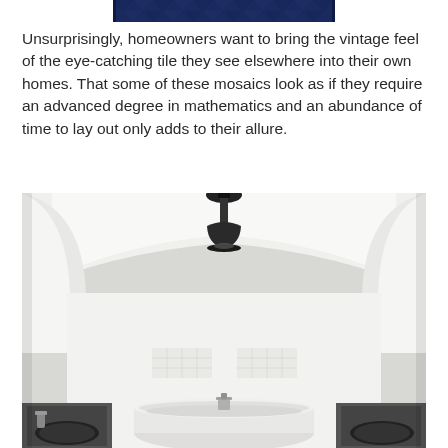[Figure (photo): Top portion of a decorative tile image with dark navy blue geometric/mosaic pattern, partially cropped at the top of the page]
Unsurprisingly, homeowners want to bring the vintage feel of the eye-catching tile they see elsewhere into their own homes. That some of these mosaics look as if they require an advanced degree in mathematics and an abundance of time to lay out only adds to their allure.
[Figure (photo): Interior bathroom photo showing a white vaulted ceiling with curved archways, a black pendant light fixture, a freestanding white bathtub in the center with chrome faucet, dark countertop sinks on both sides, and subtle tile mosaic detail on the back wall.]